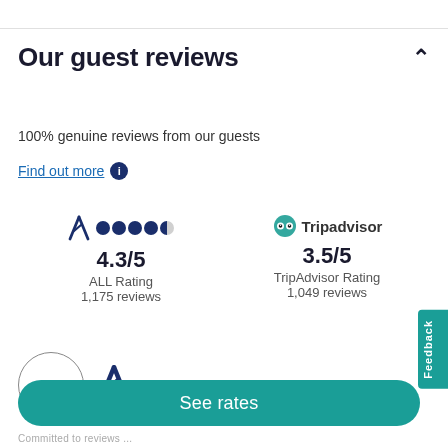Our guest reviews
100% genuine reviews from our guests
Find out more ℹ
4.3/5
ALL Rating
1,175 reviews
3.5/5
TripAdvisor Rating
1,049 reviews
See rates